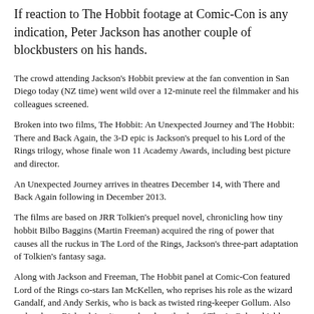If reaction to The Hobbit footage at Comic-Con is any indication, Peter Jackson has another couple of blockbusters on his hands.
The crowd attending Jackson's Hobbit preview at the fan convention in San Diego today (NZ time) went wild over a 12-minute reel the filmmaker and his colleagues screened.
Broken into two films, The Hobbit: An Unexpected Journey and The Hobbit: There and Back Again, the 3-D epic is Jackson's prequel to his Lord of the Rings trilogy, whose finale won 11 Academy Awards, including best picture and director.
An Unexpected Journey arrives in theatres December 14, with There and Back Again following in December 2013.
The films are based on JRR Tolkien's prequel novel, chronicling how tiny hobbit Bilbo Baggins (Martin Freeman) acquired the ring of power that causes all the ruckus in The Lord of the Rings, Jackson's three-part adaptation of Tolkien's fantasy saga.
Along with Jackson and Freeman, The Hobbit panel at Comic-Con featured Lord of the Rings co-stars Ian McKellen, who reprises his role as the wizard Gandalf, and Andy Serkis, who is back as twisted ring-keeper Gollum. Also on hand was Richard Armitage, who plays the dwarf Thorin Oakenshield.